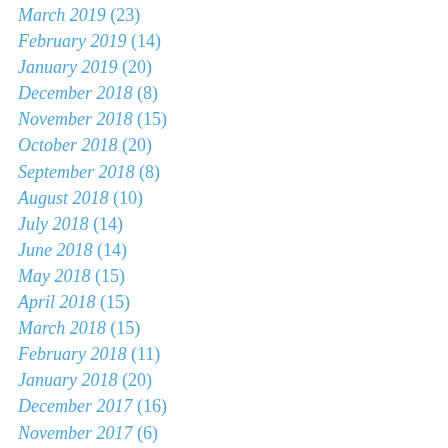March 2019 (23)
February 2019 (14)
January 2019 (20)
December 2018 (8)
November 2018 (15)
October 2018 (20)
September 2018 (8)
August 2018 (10)
July 2018 (14)
June 2018 (14)
May 2018 (15)
April 2018 (15)
March 2018 (15)
February 2018 (11)
January 2018 (20)
December 2017 (16)
November 2017 (6)
October 2017 (9)
September 2017 (7)
August 2017 (8)